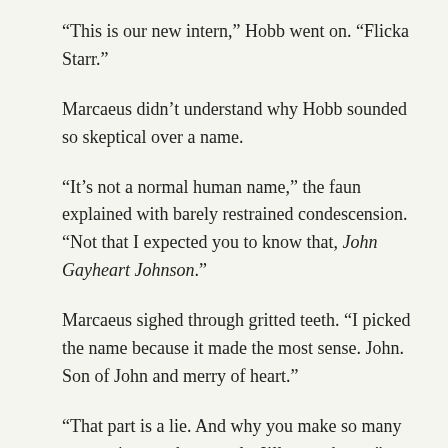“This is our new intern,” Hobb went on. “Flicka Starr.”
Marcaeus didn’t understand why Hobb sounded so skeptical over a name.
“It’s not a normal human name,” the faun explained with barely restrained condescension. “Not that I expected you to know that, John Gayheart Johnson.”
Marcaeus sighed through gritted teeth. “I picked the name because it made the most sense. John. Son of John and merry of heart.”
“That part is a lie. And why you make so many concessions to the mortals, I’ll never know.” Hobb gestured to the mirror and the image changed. The